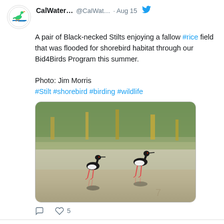CalWater... @CalWat... · Aug 15
A pair of Black-necked Stilts enjoying a fallow #rice field that was flooded for shorebird habitat through our Bid4Birds Program this summer.

Photo: Jim Morris
#Stilt #shorebird #birding #wildlife
[Figure (photo): Two Black-necked Stilt birds standing in a shallow flooded field with grassy background and their reflections visible in the water.]
CalWater... @CalWat... · Aug 15
Shorebirds like these Least Sandpipers are in desperate need of habitat this year as they migrate through California's